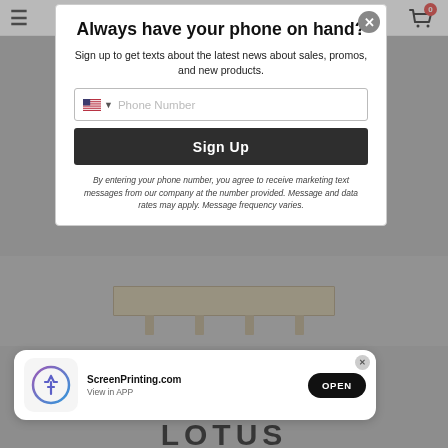[Figure (screenshot): Navigation bar with hamburger menu icon on left and shopping cart icon with badge '0' on right]
Always have your phone on hand?
Sign up to get texts about the latest news about sales, promos, and new products.
[Figure (screenshot): Phone number input field with US flag and dropdown arrow, placeholder text 'Phone Number']
Sign Up
By entering your phone number, you agree to receive marketing text messages from our company at the number provided. Message and data rates may apply. Message frequency varies.
[Figure (photo): Product shelf image partially visible behind the modal]
[Figure (screenshot): App install banner with ScreenPrinting.com app icon, name, 'View in APP' text, and OPEN button]
LOTUS